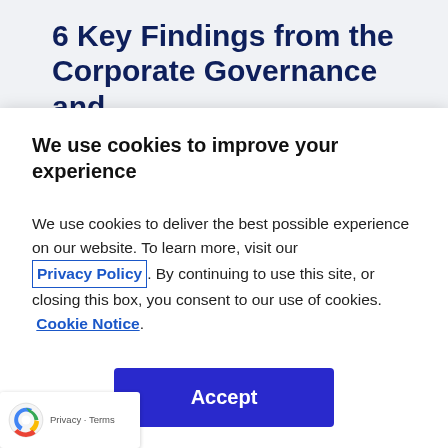6 Key Findings from the Corporate Governance and
We use cookies to improve your experience
We use cookies to deliver the best possible experience on our website. To learn more, visit our  Privacy Policy . By continuing to use this site, or closing this box, you consent to our use of cookies.  Cookie Notice .
The 2022 Top Board and Governance Expectations for General Counsel